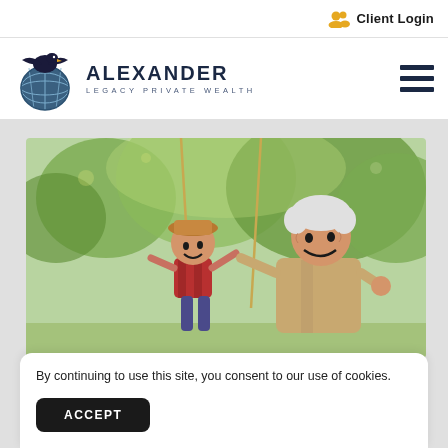Client Login
[Figure (logo): Alexander Legacy Private Wealth logo with eagle and globe, and hamburger menu icon]
[Figure (photo): Grandfather pushing grandchild on a swing outdoors among green trees, both laughing]
By continuing to use this site, you consent to our use of cookies.
ACCEPT